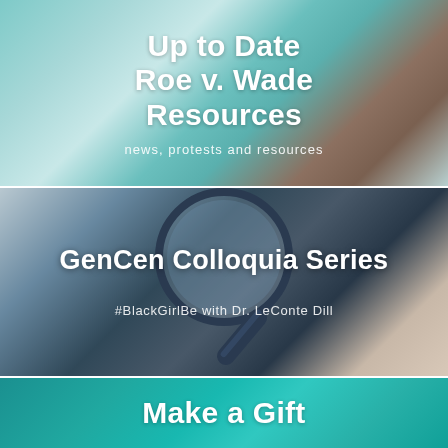[Figure (illustration): Top panel with teal/turquoise marble-like textured background]
Up to Date Roe v. Wade Resources
news, protests and resources
[Figure (illustration): Middle panel with blurred dark blue/gray bokeh background and a large magnifying glass in the center]
GenCen Colloquia Series
#BlackGirlBe with Dr. LeConte Dill
[Figure (illustration): Bottom panel with teal flower petals background]
Make a Gift